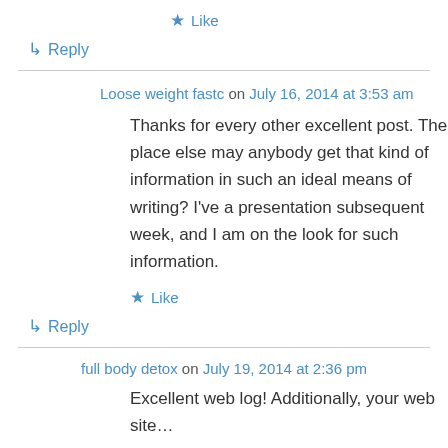★ Like
↳ Reply
Loose weight fastc on July 16, 2014 at 3:53 am
Thanks for every other excellent post. The place else may anybody get that kind of information in such an ideal means of writing? I've a presentation subsequent week, and I am on the look for such information.
★ Like
↳ Reply
full body detox on July 19, 2014 at 2:36 pm
Excellent web log! Additionally, your web site...